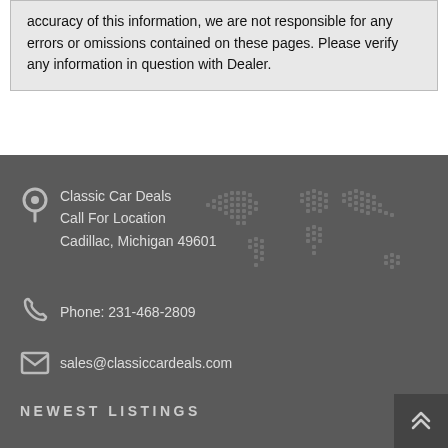accuracy of this information, we are not responsible for any errors or omissions contained on these pages. Please verify any information in question with Dealer.
Classic Car Deals
Call For Location
Cadillac, Michigan 49601
Phone: 231-468-2809
sales@classiccardeals.com
NEWEST LISTINGS
1988 Jeep Grand Wagoneer
$24,995